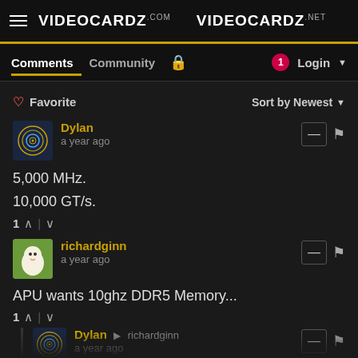VIDEOCARDZ.com  VIDEOCARDZ.net
Comments  Community  Login
Favorite   Sort by Newest
Dylan
a year ago
5,000 MHz.
10,000 GT/s.
1 ↑ | ↓
richardginn
a year ago
APU wants 10ghz DDR5 Memory...
1 ↑ | ↓
Dylan → richardginn
a year ago
Providing the timings are decent.